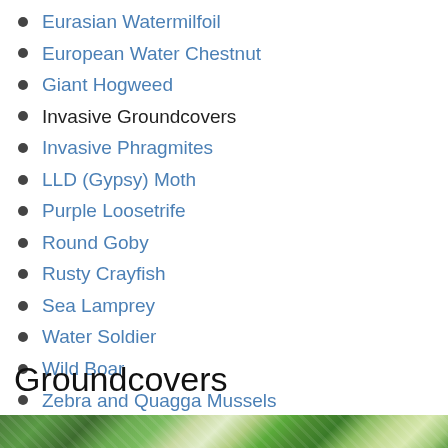Eurasian Watermilfoil
European Water Chestnut
Giant Hogweed
Invasive Groundcovers
Invasive Phragmites
LLD (Gypsy) Moth
Purple Loosetrife
Round Goby
Rusty Crayfish
Sea Lamprey
Water Soldier
Wild Boar
Zebra and Quagga Mussels
Groundcovers
[Figure (photo): Photo of invasive groundcover plants with green and white variegated leaves]